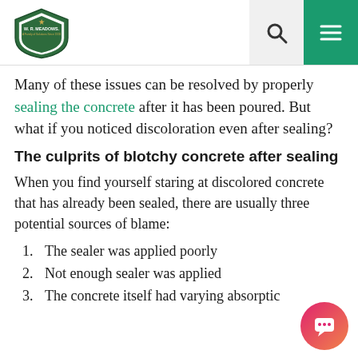W. R. Meadows logo, search icon, menu icon
Many of these issues can be resolved by properly sealing the concrete after it has been poured. But what if you noticed discoloration even after sealing?
The culprits of blotchy concrete after sealing
When you find yourself staring at discolored concrete that has already been sealed, there are usually three potential sources of blame:
1. The sealer was applied poorly
2. Not enough sealer was applied
3. The concrete itself had varying absorptic